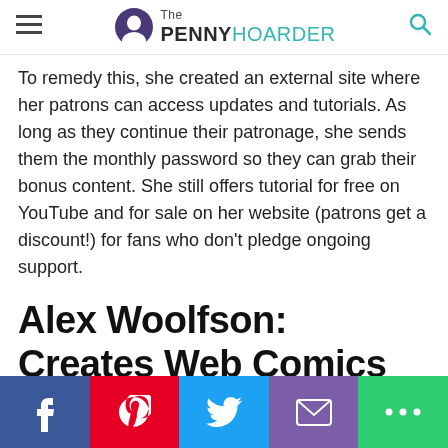The PENNY HOARDER
To remedy this, she created an external site where her patrons can access updates and tutorials. As long as they continue their patronage, she sends them the monthly password so they can grab their bonus content. She still offers tutorial for free on YouTube and for sale on her website (patrons get a discount!) for fans who don't pledge ongoing support.
Alex Woolfson: Creates Web Comics for a Worldwide Audience
Alex Woolfson...